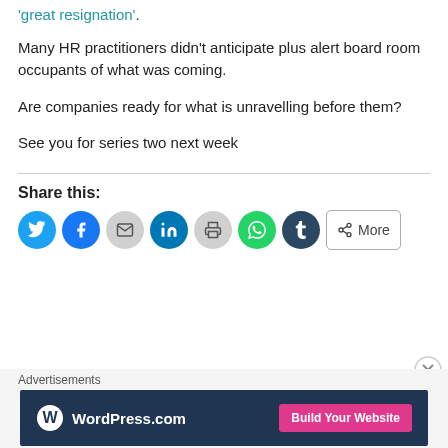'great resignation'.
Many HR practitioners didn't anticipate plus alert board room occupants of what was coming.
Are companies ready for what is unravelling before them?
See you for series two next week
Share this:
[Figure (other): Social share buttons: Twitter, Facebook, Email, LinkedIn, Print, WhatsApp, Tumblr, More]
[Figure (other): WordPress.com advertisement banner with 'Build Your Website' button]